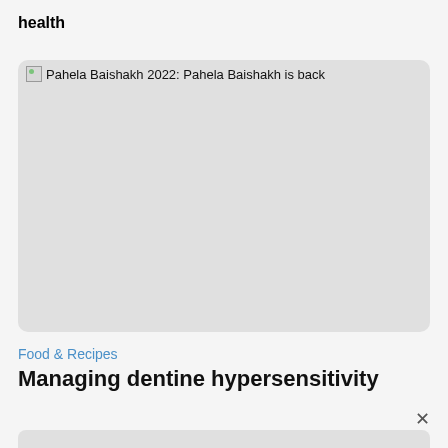health
[Figure (photo): Broken image placeholder with alt text: Pahela Baishakh 2022: Pahela Baishakh is back]
Food & Recipes
Managing dentine hypersensitivity